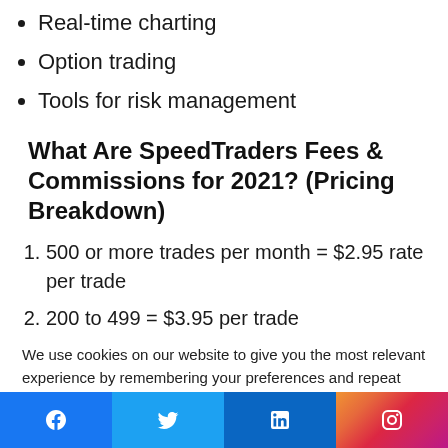Real-time charting
Option trading
Tools for risk management
What Are SpeedTraders Fees & Commissions for 2021? (Pricing Breakdown)
500 or more trades per month = $2.95 rate per trade
200 to 499 = $3.95 per trade
We use cookies on our website to give you the most relevant experience by remembering your preferences and repeat visits. By clicking "Accept All", you consent to the use of ALL the cookies. However, you may visit "Cookie Settings" to provide a controlled consent.
Cookie Settings | Accept All
Social links: Facebook, Twitter, LinkedIn, Instagram